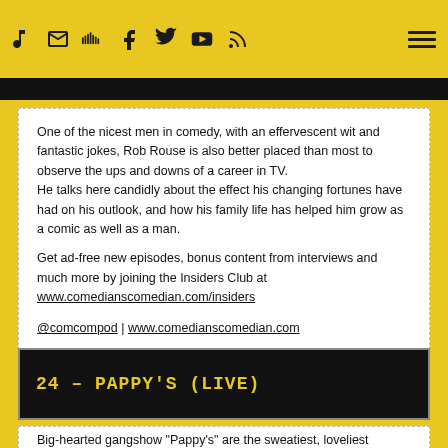[navigation icons: music, email, soundcloud, facebook, twitter, youtube, rss] [hamburger menu]
One of the nicest men in comedy, with an effervescent wit and fantastic jokes, Rob Rouse is also better placed than most to observe the ups and downs of a career in TV.
He talks here candidly about the effect his changing fortunes have had on his outlook, and how his family life has helped him grow as a comic as well as a man.

Get ad-free new episodes, bonus content from interviews and much more by joining the Insiders Club at
www.comedianscomedian.com/insiders

@comcompod | www.comedianscomedian.com
24 – PAPPY'S (LIVE)
Big-hearted gangshow "Pappy's" are the sweatiest, loveliest